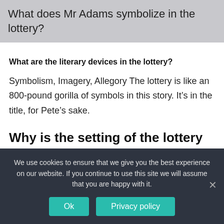What does Mr Adams symbolize in the lottery?
What are the literary devices in the lottery?
Symbolism, Imagery, Allegory The lottery is like an 800-pound gorilla of symbols in this story. It's in the title, for Pete's sake.
Why is the setting of the lottery ironic?
The setting in Jackson’s “The Lottery” is ironic because what the story suggests, and what the reader expects of the setting while reading (normal village with normal
We use cookies to ensure that we give you the best experience on our website. If you continue to use this site we will assume that you are happy with it.